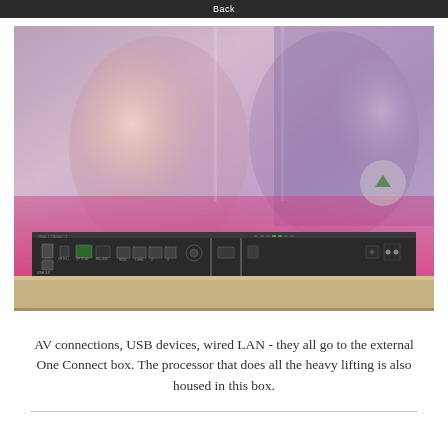Back
[Figure (photo): Photo of the back panel of a Samsung One Connect box showing AV connections including USB ports, LAN port, HDMI ports, power connector, and DisplayPort. The box is resting on a wooden shelf in front of a large TV screen displaying a music video with a female artist, pink/magenta colors dominating the lower portion.]
AV connections, USB devices, wired LAN - they all go to the external One Connect box. The processor that does all the heavy lifting is also housed in this box.